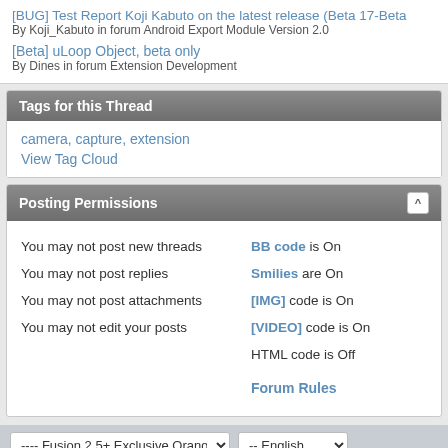[BUG] Test Report Koji Kabuto on the latest release (Beta 17-Beta
By Koji_Kabuto in forum Android Export Module Version 2.0
[Beta] uLoop Object, beta only
By Dines in forum Extension Development
Tags for this Thread
camera, capture, extension
View Tag Cloud
Posting Permissions
You may not post new threads
You may not post replies
You may not post attachments
You may not edit your posts
BB code is On
Smilies are On
[IMG] code is On
[VIDEO] code is On
HTML code is Off
Forum Rules
---- Fusion 2.5+ Exclusive Orange Launch Theme
-- English
All times are GMT. The time now i
User Alert System provided by Advanced User Tagging (Lite) - vBulletin Mods &